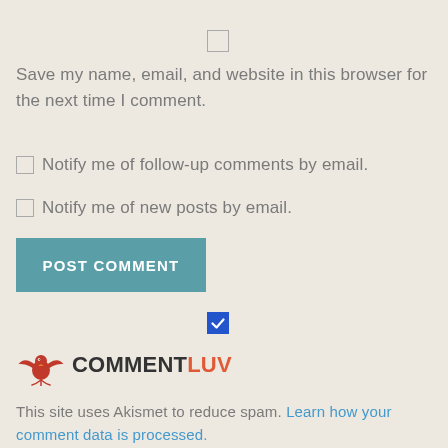Save my name, email, and website in this browser for the next time I comment.
Notify me of follow-up comments by email.
Notify me of new posts by email.
POST COMMENT
[Figure (logo): CommentLuv logo with red bird/wings icon and text COMMENTLUV in dark and orange-red]
This site uses Akismet to reduce spam. Learn how your comment data is processed.